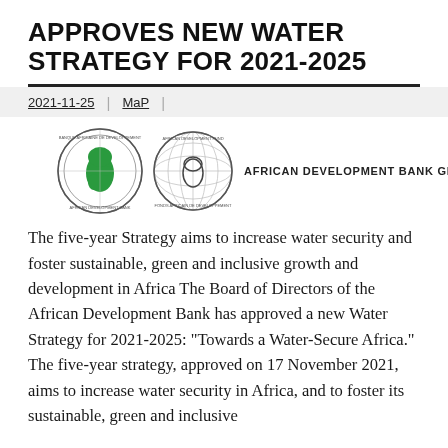APPROVES NEW WATER STRATEGY FOR 2021-2025
2021-11-25 | MaP |
[Figure (logo): African Development Bank Group logo: two circular emblems (one showing Africa in green on a globe design, one showing a globe with Africa outline), accompanied by text 'AFRICAN DEVELOPMENT BANK GROUP']
The five-year Strategy aims to increase water security and foster sustainable, green and inclusive growth and development in Africa The Board of Directors of the African Development Bank has approved a new Water Strategy for 2021-2025: “Towards a Water-Secure Africa.” The five-year strategy, approved on 17 November 2021, aims to increase water security in Africa, and to foster its sustainable, green and inclusive